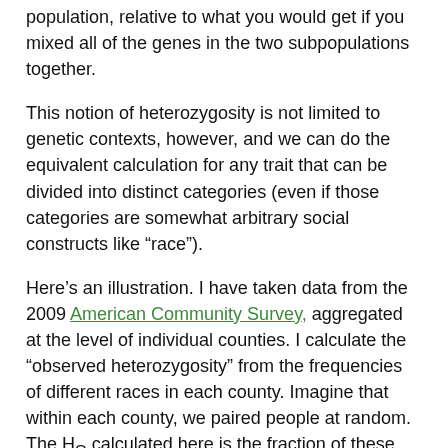population, relative to what you would get if you mixed all of the genes in the two subpopulations together.
This notion of heterozygosity is not limited to genetic contexts, however, and we can do the equivalent calculation for any trait that can be divided into distinct categories (even if those categories are somewhat arbitrary social constructs like “race”).
Here’s an illustration. I have taken data from the 2009 American Community Survey, aggregated at the level of individual counties. I calculate the “observed heterozygosity” from the frequencies of different races in each county. Imagine that within each county, we paired people at random. The H₀ calculated here is the fraction of these randomly paired couples who would have mixed-race children. In this calculation, I have assumed that if one parent self-identifies as “two or more races,” the children are mixed race, independent of the race of the other parent. Also, for simplicity, I have